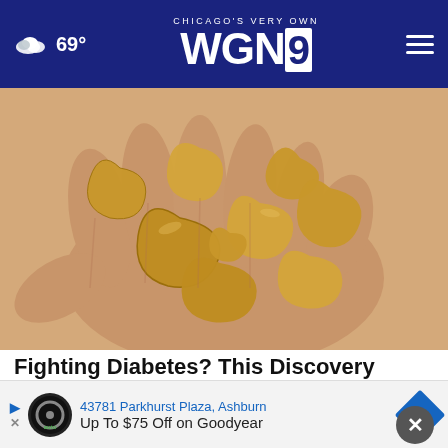CHICAGO'S VERY OWN WGN9  69°
[Figure (photo): A hand holding a pile of roasted cashew nuts, close-up photo]
Fighting Diabetes? This Discovery Leaves Doctors Speechless!
Health is Life
[Figure (photo): Advertisement: Tire Auto - 43781 Parkhurst Plaza, Ashburn - Up To $75 Off on Goodyear]